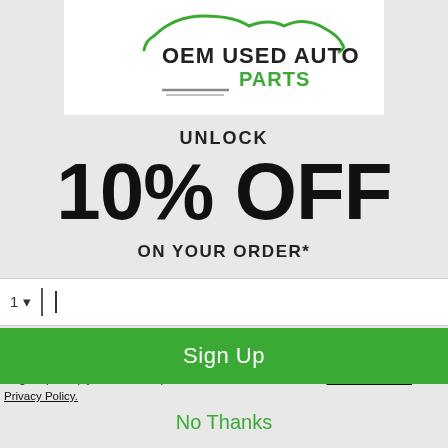[Figure (logo): OEM Used Auto Parts logo with green car silhouette outline and green/gray text]
UNLOCK
10% OFF
ON YOUR ORDER*
1 · [phone input field with cursor]
o receive recurring automated marketing text messages (e.g. cart reminders) at the phon provided. Consent is not a condition to purchase. Msg & data rates may apply. Msg frequen eply HELP for help and STOP to cancel. View our Terms of Service and Privacy Policy.
Sign Up
No Thanks